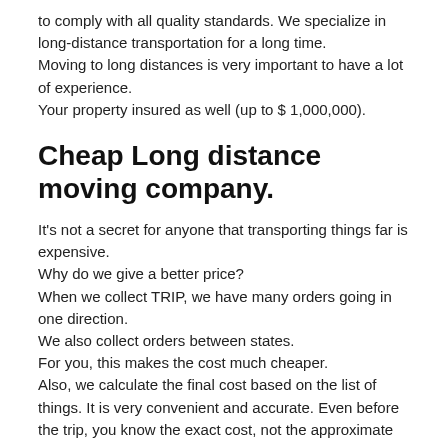to comply with all quality standards. We specialize in long-distance transportation for a long time.
Moving to long distances is very important to have a lot of experience.
Your property insured as well (up to $ 1,000,000).
Cheap Long distance moving company.
It's not a secret for anyone that transporting things far is expensive.
Why do we give a better price?
When we collect TRIP, we have many orders going in one direction.
We also collect orders between states.
For you, this makes the cost much cheaper.
Also, we calculate the final cost based on the list of things. It is very convenient and accurate. Even before the trip, you know the exact cost, not the approximate one.
Based on these benefits, get a free consultation by calling +1 (561) 429-6937.
Or fill out the contact form on the right and get an estimate within an hour